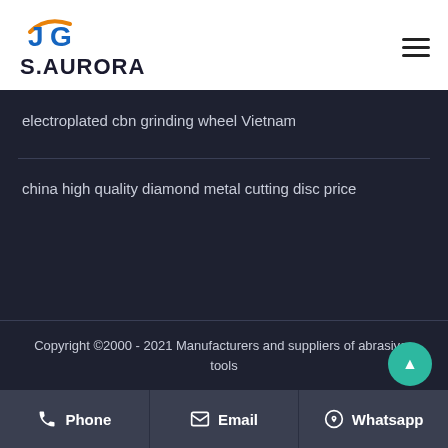[Figure (logo): S.AURORA company logo with stylized JG monogram in blue and orange]
electroplated cbn grinding wheel Vietnam
china high quality diamond metal cutting disc price
Copyright ©2000 - 2021 Manufacturers and suppliers of abrasives tools
Phone | Email | Whatsapp